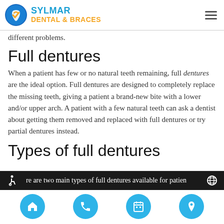SYLMAR DENTAL & BRACES
different problems.
Full dentures
When a patient has few or no natural teeth remaining, full dentures are the ideal option. Full dentures are designed to completely replace the missing teeth, giving a patient a brand-new bite with a lower and/or upper arch. A patient with a few natural teeth can ask a dentist about getting them removed and replaced with full dentures or try partial dentures instead.
Types of full dentures
There are two main types of full dentures available for patien…